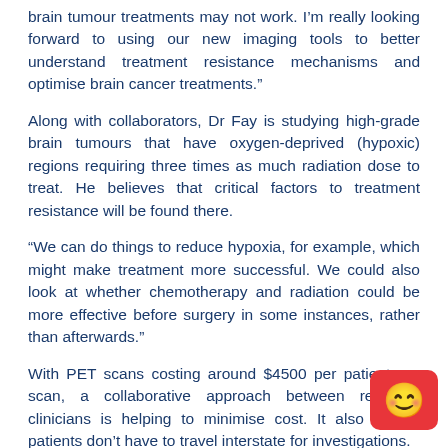brain tumour treatments may not work. I’m really looking forward to using our new imaging tools to better understand treatment resistance mechanisms and optimise brain cancer treatments.”
Along with collaborators, Dr Fay is studying high-grade brain tumours that have oxygen-deprived (hypoxic) regions requiring three times as much radiation dose to treat. He believes that critical factors to treatment resistance will be found there.
“We can do things to reduce hypoxia, for example, which might make treatment more successful. We could also look at whether chemotherapy and radiation could be more effective before surgery in some instances, rather than afterwards.”
With PET scans costing around $4500 per patient per scan, a collaborative approach between research clinicians is helping to minimise cost. It also means patients don’t have to travel interstate for investigations.